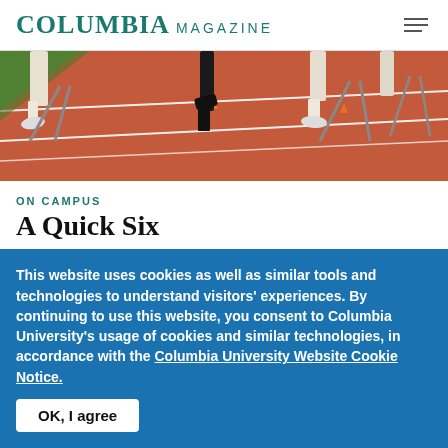COLUMBIA MAGAZINE
[Figure (photo): Close-up photo of athletes' feet and legs on a red track with white lane lines and orange cones during a track and field event.]
ON CAMPUS
A Quick Six
Six of Columbia's track-and-field athletes won Ivy League titles at the 2014 Outdoor Heptagonal
This website uses cookies as well as similar tools and technologies to understand visitors' experiences. By continuing to use this website, you consent to Columbia University's usage of cookies and similar technologies, in accordance with the Columbia University Website Cookie Notice.
OK, I agree